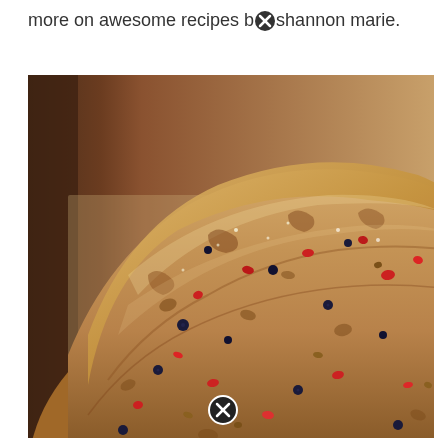more on awesome recipes by shannon marie.
[Figure (photo): Close-up photograph of a loaf of artisan bread studded with dried cranberries, blueberries, and other fruits, sitting in a baking pan lined with parchment paper.]